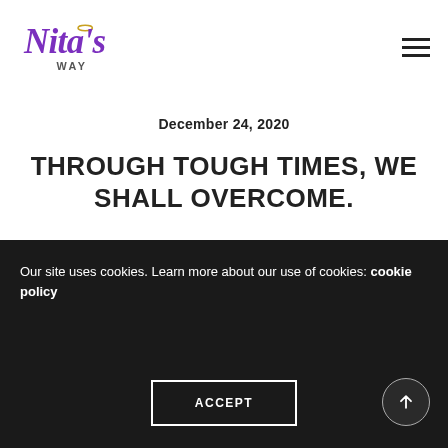[Figure (logo): Nita's Way logo in purple cursive script with 'WAY' in small caps and a gold halo over the 'i']
December 24, 2020
THROUGH TOUGH TIMES, WE SHALL OVERCOME.
Our site uses cookies. Learn more about our use of cookies: cookie policy